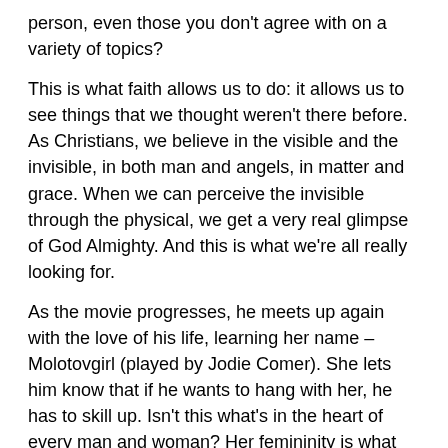person, even those you don't agree with on a variety of topics?
This is what faith allows us to do: it allows us to see things that we thought weren't there before. As Christians, we believe in the visible and the invisible, in both man and angels, in matter and grace. When we can perceive the invisible through the physical, we get a very real glimpse of God Almighty. And this is what we're all really looking for.
As the movie progresses, he meets up again with the love of his life, learning her name – Molotovgirl (played by Jodie Comer). She lets him know that if he wants to hang with her, he has to skill up. Isn't this what's in the heart of every man and woman? Her femininity is what draws him out, inspiring him to be a better man, and it is women upholding her dignity and worth, that cause real men to step up.
There's one problem with Molotovgirl's request: Guy can only earn experience points by doing violent actions. Guy responds, "I never hurt innocent people". Moltovgirl is